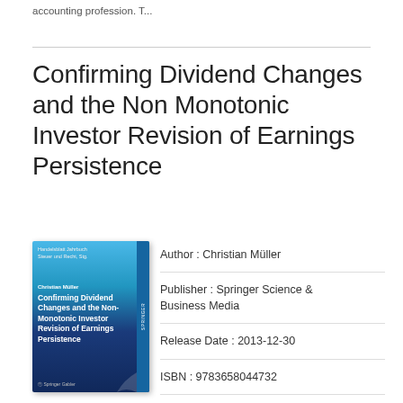accounting profession. T...
Confirming Dividend Changes and the Non Monotonic Investor Revision of Earnings Persistence
[Figure (illustration): Book cover of 'Confirming Dividend Changes and the Non-Monotonic Investor Revision of Earnings Persistence' by Christian Müller, published by Springer, with blue gradient cover design.]
Author : Christian Müller
Publisher : Springer Science & Business Media
Release Date : 2013-12-30
ISBN : 9783658044732
Detail : The stylized facts that firms pay and investors react to dividends disregard dividend